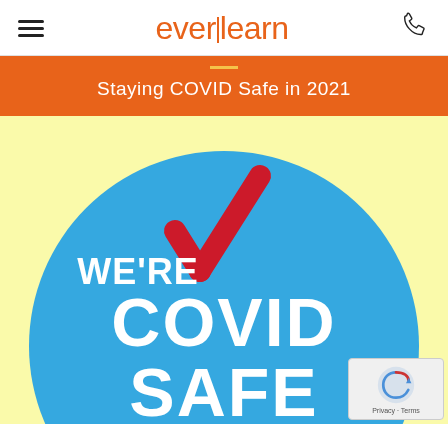everlearn
Staying COVID Safe in 2021
[Figure (illustration): Blue circular COVID Safe badge with red checkmark and white text reading WE'RE COVID SAFE on a yellow background]